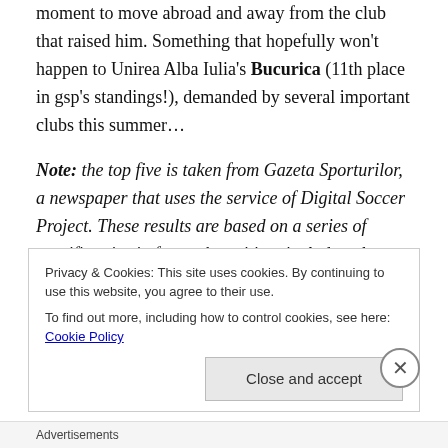moment to move abroad and away from the club that raised him. Something that hopefully won't happen to Unirea Alba Iulia's Bucurica (11th place in gsp's standings!), demanded by several important clubs this summer…
Note: the top five is taken from Gazeta Sporturilor, a newspaper that uses the service of Digital Soccer Project. These results are based on a series of specific criteria for each position, include only players that have collected at least 1.200 minutes on the pitch in the past season and the only subjective part of the analysis consists in the
Privacy & Cookies: This site uses cookies. By continuing to use this website, you agree to their use.
To find out more, including how to control cookies, see here: Cookie Policy
Close and accept
Advertisements